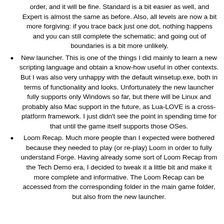order, and it will be fine. Standard is a bit easier as well, and Expert is almost the same as before. Also, all levels are now a bit more forgiving: if you trace back just one dot, nothing happens and you can still complete the schematic; and going out of boundaries is a bit more unlikely.
New launcher. This is one of the things I did mainly to learn a new scripting language and obtain a know-how useful in other contexts. But I was also very unhappy with the default winsetup.exe, both in terms of functionality and looks. Unfortunately the new launcher fully supports only Windows so far, but there will be Linux and probably also Mac support in the future, as Lua-LOVE is a cross-platform framework. I just didn’t see the point in spending time for that until the game itself supports those OSes.
Loom Recap. Much more people than I expected were bothered because they needed to play (or re-play) Loom in order to fully understand Forge. Having already some sort of Loom Recap from the Tech Demo era, I decided to tweak it a little bit and make it more complete and informative. The Loom Recap can be accessed from the corresponding folder in the main game folder, but also from the new launcher.